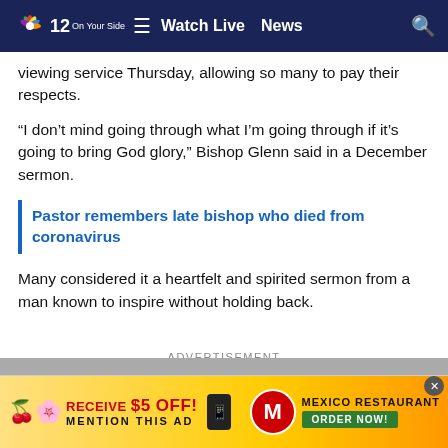NBC 12 | Watch Live | News
viewing service Thursday, allowing so many to pay their respects.
“I don’t mind going through what I’m going through if it’s going to bring God glory,” Bishop Glenn said in a December sermon.
Pastor remembers late bishop who died from coronavirus
Many considered it a heartfelt and spirited sermon from a man known to inspire without holding back.
ADVERTISEMENT
[Figure (infographic): Advertisement banner: RECEIVE $5 OFF! MENTION THIS AD - Mexico Restaurant ORDER NOW!]